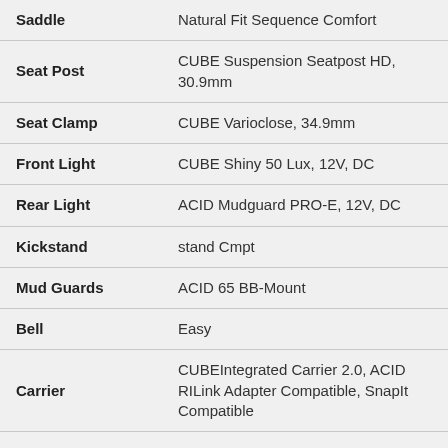| Component | Specification |
| --- | --- |
| Saddle | Natural Fit Sequence Comfort |
| Seat Post | CUBE Suspension Seatpost HD, 30.9mm |
| Seat Clamp | CUBE Varioclose, 34.9mm |
| Front Light | CUBE Shiny 50 Lux, 12V, DC |
| Rear Light | ACID Mudguard PRO-E, 12V, DC |
| Kickstand | stand Cmpt |
| Mud Guards | ACID 65 BB-Mount |
| Bell | Easy |
| Carrier | CUBEIntegrated Carrier 2.0, ACID RILink Adapter Compatible, SnapIt Compatible |